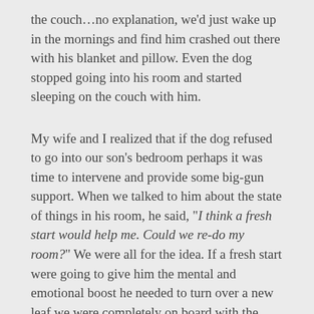the couch...no explanation, we'd just wake up in the mornings and find him crashed out there with his blanket and pillow. Even the dog stopped going into his room and started sleeping on the couch with him.
My wife and I realized that if the dog refused to go into our son's bedroom perhaps it was time to intervene and provide some big-gun support. When we talked to him about the state of things in his room, he said, "I think a fresh start would help me. Could we re-do my room?" We were all for the idea. If a fresh start were going to give him the mental and emotional boost he needed to turn over a new leaf we were completely on board with the idea.